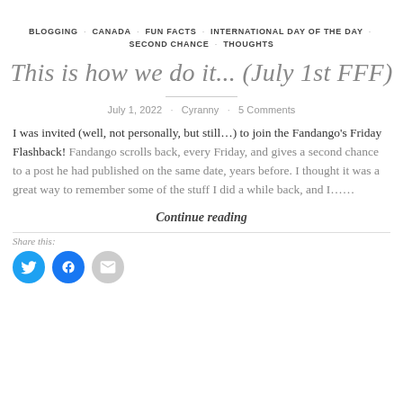BLOGGING · CANADA · FUN FACTS · INTERNATIONAL DAY OF THE DAY · SECOND CHANCE · THOUGHTS
This is how we do it... (July 1st FFF)
July 1, 2022 · Cyranny · 5 Comments
I was invited (well, not personally, but still...) to join the Fandango's Friday Flashback! Fandango scrolls back, every Friday, and gives a second chance to a post he had published on the same date, years before. I thought it was a great way to remember some of the stuff I did a while back, and I......
Continue reading
Share this: